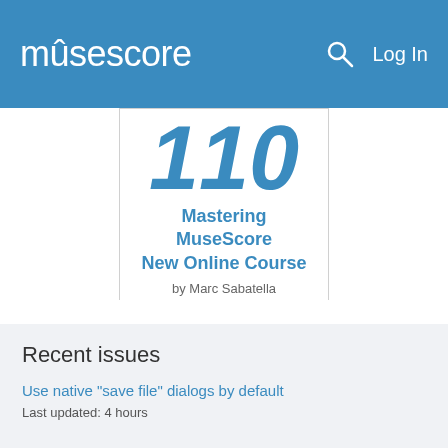musescore  Log In
[Figure (screenshot): MuseScore ad banner showing partial number '110', course title 'Mastering MuseScore New Online Course' by Marc Sabatella, with green 'ENROLL NOW' button]
Recent issues
Use native "save file" dialogs by default
Last updated: 4 hours